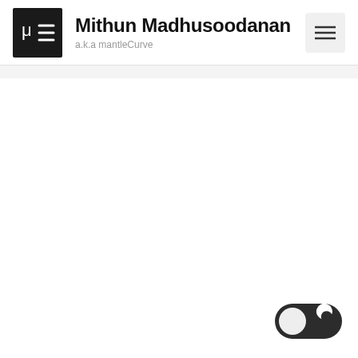[Figure (logo): Black square logo with Greek letter mu (μ) and equals-like lines (μ≡) in white]
Mithun Madhusoodanan
a.k.a mantleCurve
[Figure (other): Hamburger menu icon (three horizontal lines) in a light grey rounded box]
[Figure (other): Dark mode toggle switch: dark track with white circular thumb on the left and a crescent moon icon on the right]